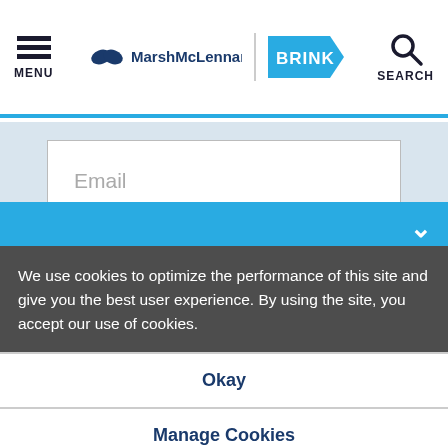MarshMcLennan BRINK — MENU / SEARCH navigation bar
Email
Country
Company
We use cookies to optimize the performance of this site and give you the best user experience. By using the site, you accept our use of cookies.
Okay
Manage Cookies